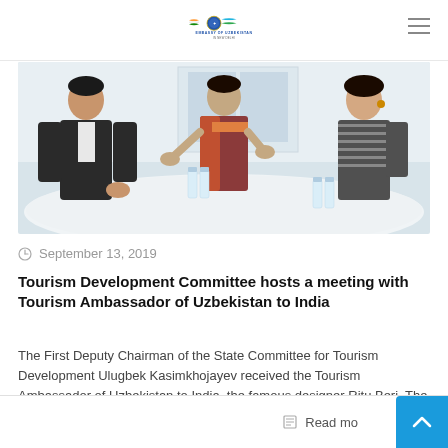Embassy of Uzbekistan in New Delhi
[Figure (photo): Three people sitting around a white conference table in a meeting room. A man in a dark suit on the left, a woman in colorful attire in the center gesturing, and a woman in a striped outfit on the right. Water bottles are on the table.]
September 13, 2019
Tourism Development Committee hosts a meeting with Tourism Ambassador of Uzbekistan to India
The First Deputy Chairman of the State Committee for Tourism Development Ulugbek Kasimkhojayev received the Tourism Ambassador of Uzbekistan to India, the famous designer Ritu Beri. The guest was provided [...]
Read more